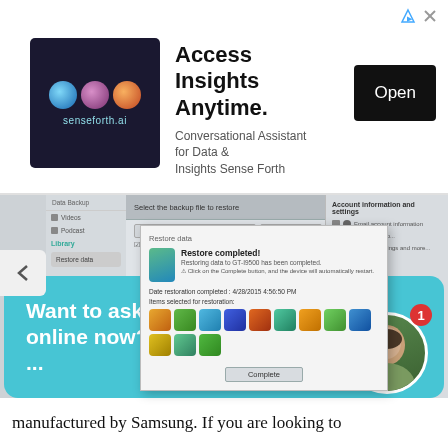[Figure (screenshot): Advertisement banner for senseforth.ai - Access Insights Anytime. Conversational Assistant for Data & Insights Sense Forth. With Open button.]
[Figure (screenshot): Screenshot of a data backup/restore software showing 'Restore completed' dialog with app icons and Complete button]
Want to ask an Android Expert online now? I can connect you ...
manufactured by Samsung. If you are looking to